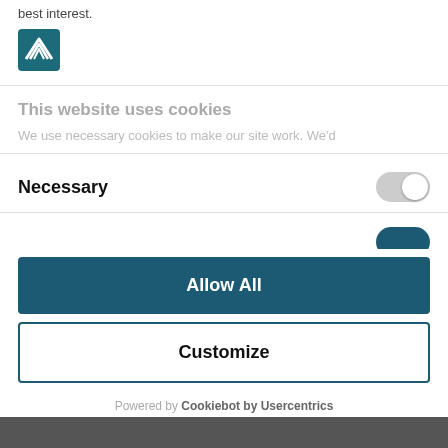best interest.
[Figure (logo): A teal square logo with stylized white lines forming a house/signal shape]
This website uses cookies
We use necessary cookies to make our site work. We'd
Necessary
Allow All
Customize
Powered by Cookiebot by Usercentrics